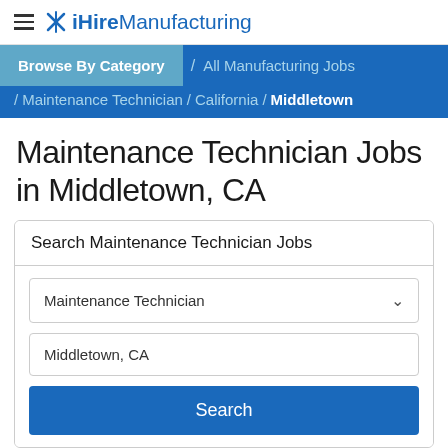iHireManufacturing
Maintenance Technician Jobs in Middletown, CA
Browse By Category / All Manufacturing Jobs / Maintenance Technician / California / Middletown
Search Maintenance Technician Jobs
Maintenance Technician
Middletown, CA
Search